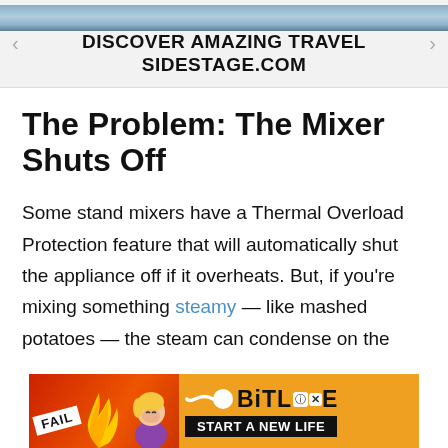[Figure (other): Advertisement banner: 'DISCOVER AMAZING TRAVEL SIDESTAGE.COM' with navigation arrows and background travel image]
The Problem: The Mixer Shuts Off
Some stand mixers have a Thermal Overload Protection feature that will automatically shut the appliance off if it overheats. But, if you're mixing something steamy — like mashed potatoes — the steam can condense on the
[Figure (other): Advertisement: BitLife 'START A NEW LIFE' app ad with FAIL badge and cartoon character]